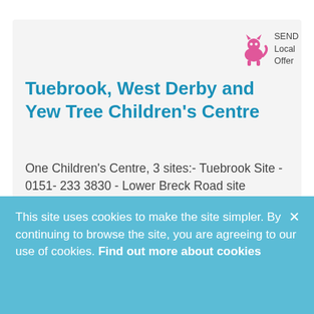[Figure (logo): SEND Local Offer logo — pink cat/dog silhouette with text 'SEND Local Offer']
Tuebrook, West Derby and Yew Tree Children's Centre
One Children's Centre, 3 sites:- Tuebrook Site - 0151- 233 3830 - Lower Breck Road site behind St Margaret's Primary School, L6 4BX Tuebrookcc@liverpool.gov.uk  West Derby Site - 0151 233 6202 - Blackmoor Park Primary School, Leyfield Road, L12 9EY westderbycc@liverpool.gov.uk Yew
This site uses cookies to make the site simpler. By continuing to browse the site, you are agreeing to our use of cookies. Find out more about cookies